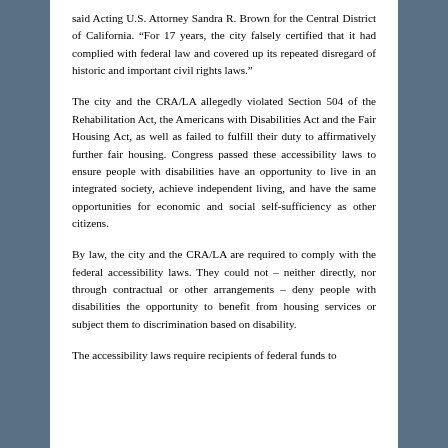said Acting U.S. Attorney Sandra R. Brown for the Central District of California. “For 17 years, the city falsely certified that it had complied with federal law and covered up its repeated disregard of historic and important civil rights laws.”
The city and the CRA/LA allegedly violated Section 504 of the Rehabilitation Act, the Americans with Disabilities Act and the Fair Housing Act, as well as failed to fulfill their duty to affirmatively further fair housing. Congress passed these accessibility laws to ensure people with disabilities have an opportunity to live in an integrated society, achieve independent living, and have the same opportunities for economic and social self-sufficiency as other citizens.
By law, the city and the CRA/LA are required to comply with the federal accessibility laws. They could not – neither directly, nor through contractual or other arrangements – deny people with disabilities the opportunity to benefit from housing services or subject them to discrimination based on disability.
The accessibility laws require recipients of federal funds to